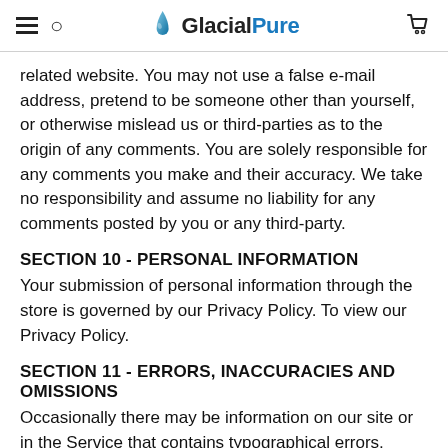GlacialPure
related website. You may not use a false e-mail address, pretend to be someone other than yourself, or otherwise mislead us or third-parties as to the origin of any comments. You are solely responsible for any comments you make and their accuracy. We take no responsibility and assume no liability for any comments posted by you or any third-party.
SECTION 10 - PERSONAL INFORMATION
Your submission of personal information through the store is governed by our Privacy Policy. To view our Privacy Policy.
SECTION 11 - ERRORS, INACCURACIES AND OMISSIONS
Occasionally there may be information on our site or in the Service that contains typographical errors,